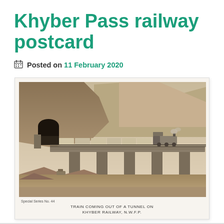Khyber Pass railway postcard
Posted on 11 February 2020
[Figure (photo): Sepia-toned vintage postcard photograph showing a steam train coming out of a tunnel on the Khyber Railway, N.W.F.P. The train is crossing a viaduct bridge over a rocky gorge, with rugged mountainous terrain in the background. Caption reads: 'TRAIN COMING OUT OF A TUNNEL ON KHYBER RAILWAY, N.W.F.P.']